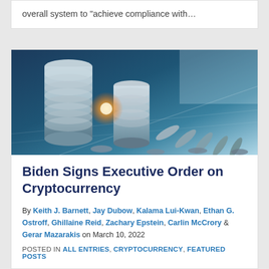overall system to “achieve compliance with…
[Figure (photo): Stack of coins and falling coins against a blue-tinted financial chart background, representing cryptocurrency]
Biden Signs Executive Order on Cryptocurrency
By Keith J. Barnett, Jay Dubow, Kalama Lui-Kwan, Ethan G. Ostroff, Ghillaine Reid, Zachary Epstein, Carlin McCrory & Gerar Mazarakis on March 10, 2022
POSTED IN ALL ENTRIES, CRYPTOCURRENCY, FEATURED POSTS